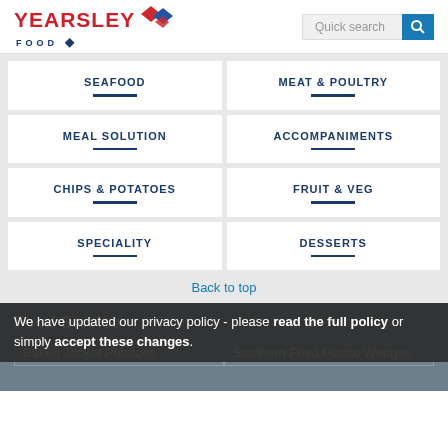[Figure (logo): Yearsley Food logo with red text and diamond graphic]
SEAFOOD
MEAT & POULTRY
MEAL SOLUTION
ACCOMPANIMENTS
CHIPS & POTATOES
FRUIT & VEG
SPECIALITY
DESSERTS
Back to top
Food Service
We have updated our privacy policy - please read the full policy or simply accept these changes.
Baked Jacket Potatoes
Southern Fried Potato Wedges